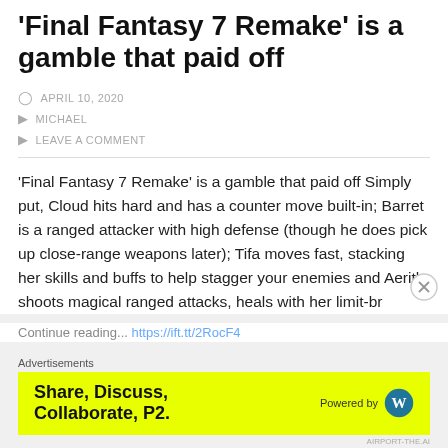'Final Fantasy 7 Remake' is a gamble that paid off
APRIL 10, 2020
MICHAEL
LEAVE A COMMENT
'Final Fantasy 7 Remake' is a gamble that paid off Simply put, Cloud hits hard and has a counter move built-in; Barret is a ranged attacker with high defense (though he does pick up close-range weapons later); Tifa moves fast, stacking her skills and buffs to help stagger your enemies and Aerith shoots magical ranged attacks, heals with her limit-br
Continue reading... https://ift.tt/2RocF4
Advertisements
[Figure (infographic): Yellow advertisement banner reading 'Share, Discuss, Collaborate, P2.' with 'Powered by' and WordPress logo on the right.]